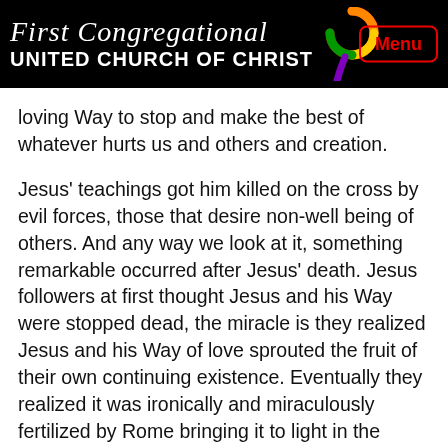First Congregational UNITED CHURCH OF CHRIST
loving Way to stop and make the best of whatever hurts us and others and creation.
Jesus' teachings got him killed on the cross by evil forces, those that desire non-well being of others. And any way we look at it, something remarkable occurred after Jesus' death. Jesus followers at first thought Jesus and his Way were stopped dead, the miracle is they realized Jesus and his Way of love sprouted the fruit of their own continuing existence. Eventually they realized it was ironically and miraculously fertilized by Rome bringing it to light in the darkness of its efforts to snuff it out.